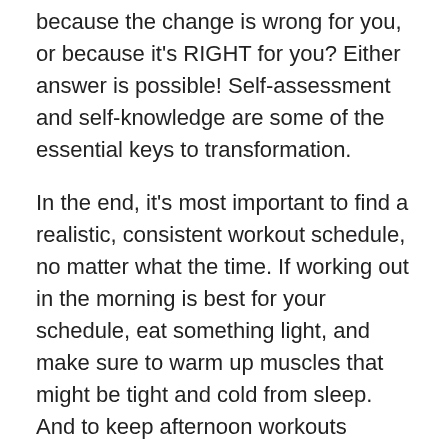because the change is wrong for you, or because it's RIGHT for you? Either answer is possible! Self-assessment and self-knowledge are some of the essential keys to transformation.
In the end, it's most important to find a realistic, consistent workout schedule, no matter what the time. If working out in the morning is best for your schedule, eat something light, and make sure to warm up muscles that might be tight and cold from sleep. And to keep afternoon workouts consistent, treat them as unbreakable appointments, find a workout partner, and keep a gym bag in the car or office to minimize excuses.